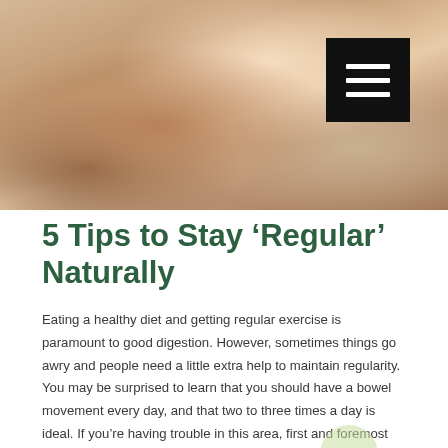[Figure (photo): Woman smiling and holding a light blue mug, photographed from below the chin up, with reddish-brown hair. Menu button (hamburger icon) visible in top-right corner.]
5 Tips to Stay ‘Regular’ Naturally
Eating a healthy diet and getting regular exercise is paramount to good digestion. However, sometimes things go awry and people need a little extra help to maintain regularity. You may be surprised to learn that you should have a bowel movement every day, and that two to three times a day is ideal. If you’re having trouble in this area, first and foremost be sure that you’re ingesting adequate water and eating good amounts of fiber in your diet.